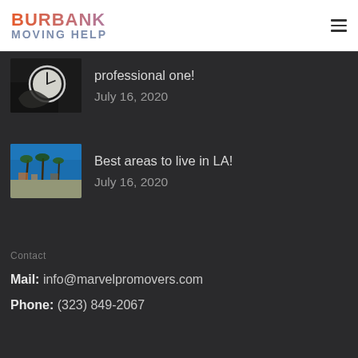[Figure (logo): Burbank Moving Help logo with orange-to-red gradient BURBANK text and steel-blue MOVING HELP text]
professional one!
July 16, 2020
[Figure (photo): Thumbnail of beach/palm trees scene under blue sky - LA area]
Best areas to live in LA!
July 16, 2020
Contact
Mail: info@marvelpromovers.com
Phone: (323) 849-2067